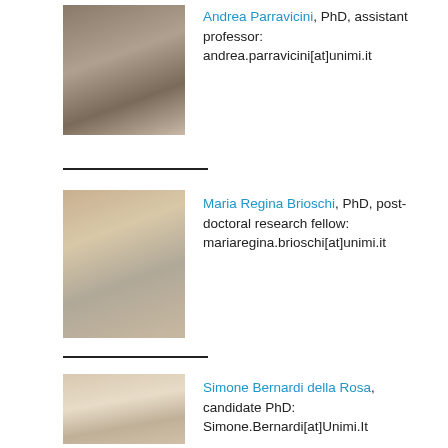[Figure (photo): Headshot of Andrea Parravicini, a man with dark curly hair wearing a light blue shirt, with bookshelves in background]
Andrea Parravicini, PhD, assistant professor: andrea.parravicini[at]unimi.it
[Figure (photo): Headshot of Maria Regina Brioschi, a woman with long blonde hair and glasses, sitting thoughtfully with hand near face]
Maria Regina Brioschi, PhD, post-doctoral research fellow: mariaregina.brioschi[at]unimi.it
[Figure (photo): Headshot of Simone Bernardi della Rosa, a man with short dark hair and beard, wearing a white shirt]
Simone Bernardi della Rosa, candidate PhD: Simone.Bernardi[at]Unimi.It